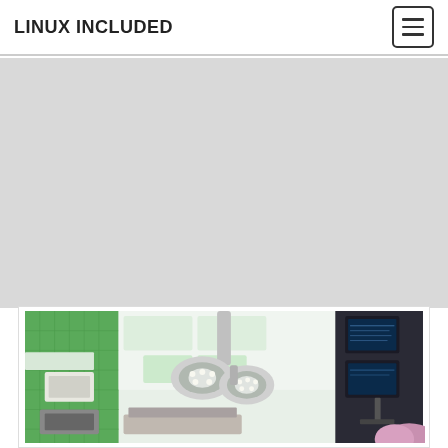LINUX INCLUDED
[Figure (photo): Operating room with surgical lights, green tiled walls, monitors, and medical equipment viewed from below looking up at the ceiling.]